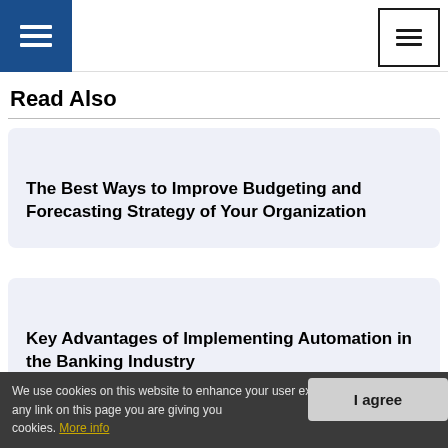Navigation header with menu icons
Read Also
The Best Ways to Improve Budgeting and Forecasting Strategy of Your Organization
Key Advantages of Implementing Automation in the Banking Industry
We use cookies on this website to enhance your user experience. By clicking any link on this page you are giving your consent to set cookies. More info